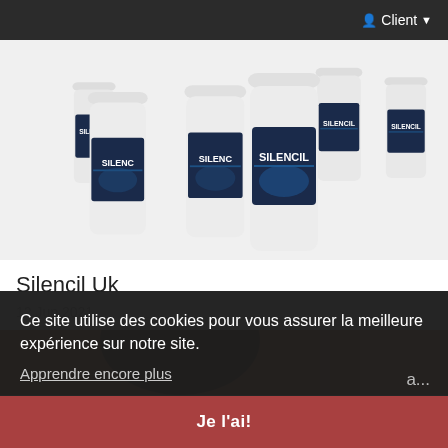Client
[Figure (photo): Multiple white supplement bottles with dark blue labels reading 'SILENCIL', arranged in a cluster, some facing forward and some at angles, on a white background.]
Silencil Uk
12 Jun 2021
[Figure (photo): Partial view of a woman with dark hair, warm toned background, lower portion overlapped by cookie consent banner.]
Ce site utilise des cookies pour vous assurer la meilleure expérience sur notre site.
Apprendre encore plus
a...
Je l'ai!